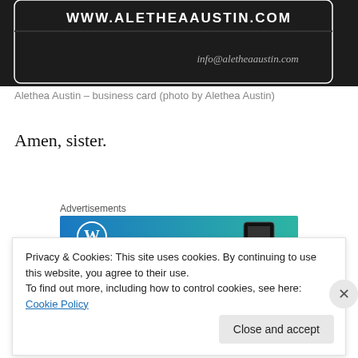[Figure (photo): Bottom portion of a dark/black business card showing website URL 'WWW.ALETHEAAUSTIN.COM' at top and email 'info@aletheaaustin.com' in script font]
Alethea Austin – business card (photo by Alethea Austin)
Amen, sister.
Advertisements
[Figure (screenshot): WordPress.com advertisement banner with blue-green gradient background, WordPress logo (W in circle) on left, and a mobile device on right]
Privacy & Cookies: This site uses cookies. By continuing to use this website, you agree to their use.
To find out more, including how to control cookies, see here: Cookie Policy